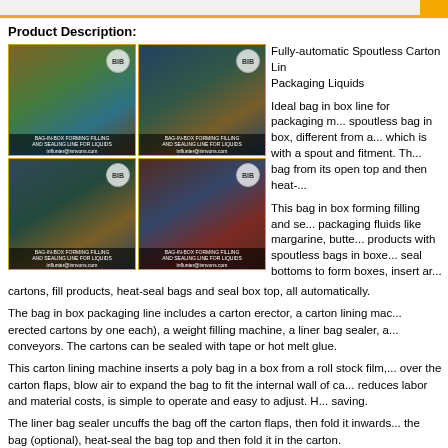Product Description:
[Figure (photo): Four photos of BIB (Bag-In-Box) forming, filling and sealing line for liquids showing machinery and product cartons]
Fully-automatic Spoutless Carton Liner Bag in Box Packaging Liquids
Ideal bag in box line for packaging m... spoutless bag in box, different from a... which is with a spout and fitment. Th... bag from its open top and then heat-...
This bag in box forming filling and se... packaging fluids like margarine, butte... products with spoutless bags in boxe... seal bottoms to form boxes, insert ar... cartons, fill products, heat-seal bags and seal box top, all automatically.
The bag in box packaging line includes a carton erector, a carton lining mac... erected cartons by one each), a weight filling machine, a liner bag sealer, a... conveyors. The cartons can be sealed with tape or hot melt glue.
This carton lining machine inserts a poly bag in a box from a roll stock film,... over the carton flaps, blow air to expand the bag to fit the internal wall of ca... reduces labor and material costs, is simple to operate and easy to adjust. H... saving.
The liner bag sealer uncuffs the bag off the carton flaps, then fold it inwards... the bag (optional), heat-seal the bag top and then fold it in the carton.
The product-contact parts in the filling machine are made of 316L stainless... corrosion resistance.